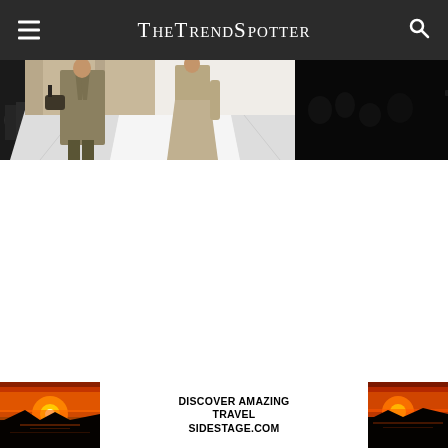TheTrendSpotter
[Figure (photo): Fashion runway show photo showing models walking in neutral-toned outfits, with audience members visible on the sides. The right half of the image is very dark/black.]
[Figure (photo): Advertisement banner showing a sunset over rocky coastline landscape on the left and right sides, with white center text area reading DISCOVER AMAZING TRAVEL SIDESTAGE.COM]